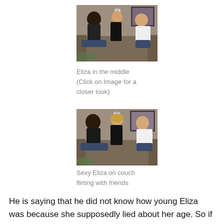[Figure (photo): Three people sitting on a couch in an indoor setting; a woman in the middle, a man with curly hair on the left, and a man in a white shirt on the right. Artwork visible on the wall behind them.]
Eliza in the middle (Click on Image for a closer look)
[Figure (photo): Same three people on a couch — closer/zoomed view. Woman with blonde hair in the middle, man with curly hair on left, man in white shirt on right. Artwork on wall behind them.]
Sexy Eliza on couch flirting with friends
He is saying that he did not know how young Eliza was because she supposedly lied about her age. So if he